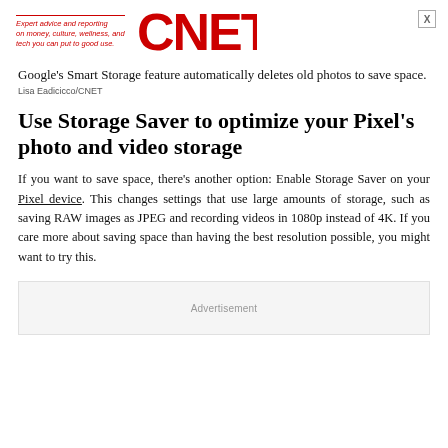Expert advice and reporting on money, culture, wellness, and tech you can put to good use. CNET
Google's Smart Storage feature automatically deletes old photos to save space.
Lisa Eadicicco/CNET
Use Storage Saver to optimize your Pixel's photo and video storage
If you want to save space, there's another option: Enable Storage Saver on your Pixel device. This changes settings that use large amounts of storage, such as saving RAW images as JPEG and recording videos in 1080p instead of 4K. If you care more about saving space than having the best resolution possible, you might want to try this.
Advertisement